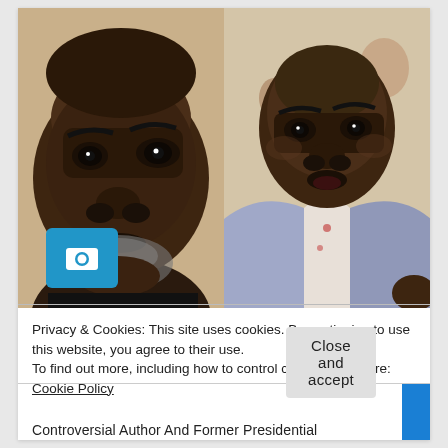[Figure (photo): Side-by-side photo of two men. Left: close-up of a man with dark skin and grey stubble beard against a beige background. A blue camera icon overlay is visible in the bottom-left of the image. Right: a man in a light blue/lavender suit jacket with a patterned shirt, looking toward the camera.]
Privacy & Cookies: This site uses cookies. By continuing to use this website, you agree to their use.
To find out more, including how to control cookies, see here: Cookie Policy
Close and accept
Controversial Author And Former Presidential